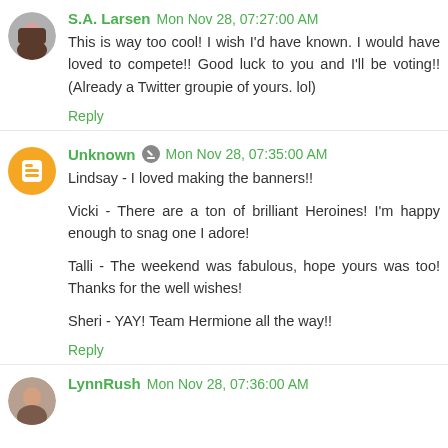S.A. Larsen · Mon Nov 28, 07:27:00 AM
This is way too cool! I wish I'd have known. I would have loved to compete!! Good luck to you and I'll be voting!! (Already a Twitter groupie of yours. lol)
Reply
Unknown · Mon Nov 28, 07:35:00 AM
Lindsay - I loved making the banners!!

Vicki - There are a ton of brilliant Heroines! I'm happy enough to snag one I adore!

Talli - The weekend was fabulous, hope yours was too! Thanks for the well wishes!

Sheri - YAY! Team Hermione all the way!!
Reply
LynnRush · Mon Nov 28, 07:36:00 AM